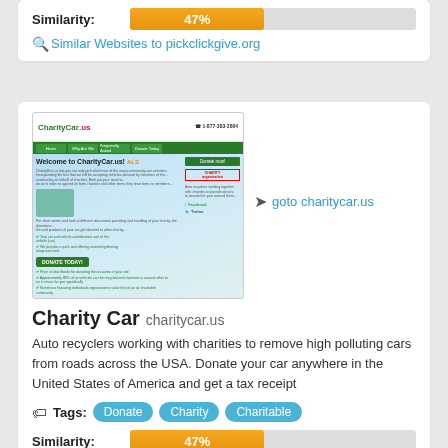Similarity: 47%
Similar Websites to pickclickgive.org
[Figure (screenshot): Screenshot of charitycar.us website showing the CharityCar.us homepage with ALS logo, US map, Donate Today button, and social media links]
goto charitycar.us
Charity Car  charitycar.us
Auto recyclers working with charities to remove high polluting cars from roads across the USA. Donate your car anywhere in the United States of America and get a tax receipt
Tags:  Donate  Charity  Charitable
Similarity: 47%
Similar Websites to charitycar.us